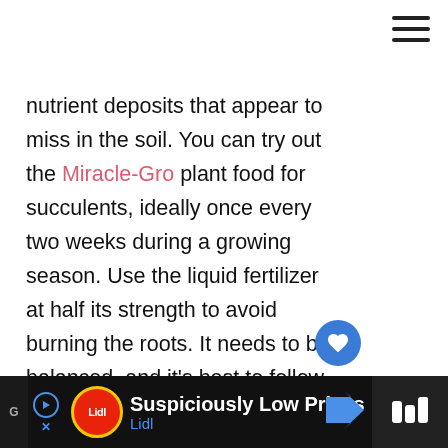nutrient deposits that appear to miss in the soil. You can try out the Miracle-Gro plant food for succulents, ideally once every two weeks during a growing season. Use the liquid fertilizer at half its strength to avoid burning the roots. It needs to be balanced, and it's best to follow instructions on the label before use. If your string of nickels doesn't appear too needy, you can use the fertilizer once per year only at the start of the growing period.
[Figure (screenshot): UI overlay elements: heart/like button (blue circle with heart icon), count '1', share button (circle with share icon), and 'WHAT'S NEXT → How to Grow & Care for...' card with flower image]
[Figure (screenshot): Advertisement bar: Lidl ad with 'Suspiciously Low Prices' text, Lidl logo, blue arrow shape. Right side shows another app icon.]